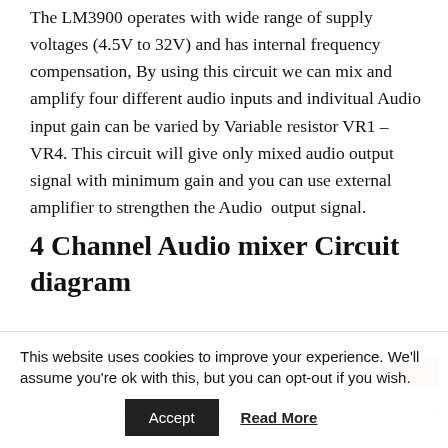The LM3900 operates with wide range of supply voltages (4.5V to 32V) and has internal frequency compensation, By using this circuit we can mix and amplify four different audio inputs and indivitual Audio input gain can be varied by Variable resistor VR1 – VR4. This circuit will give only mixed audio output signal with minimum gain and you can use external amplifier to strengthen the Audio  output signal.
4 Channel Audio mixer Circuit diagram
[Figure (other): Partial view of a circuit diagram image, partially visible at the bottom of the page with a red element in the top-right corner]
This website uses cookies to improve your experience. We'll assume you're ok with this, but you can opt-out if you wish.